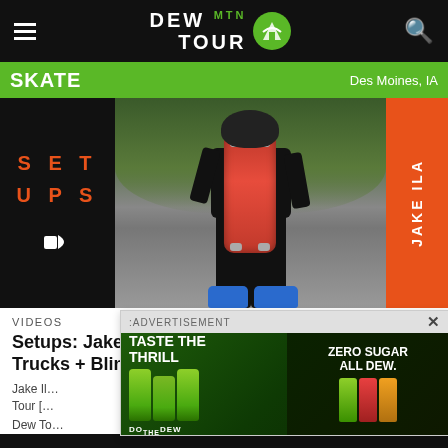DEW TOUR
SKATE  Des Moines, IA
[Figure (photo): Skater Jake Ilardi sitting outdoors holding a red Blind Skateboard, wearing blue shoes and black clothes. Left panel shows 'SETUPS' text in orange on black background. Right orange panel shows 'JAKE ILARDI' text vertically.]
VIDEOS
Setups: Jake Ilardi's Bones Wheels, Thunder Trucks + Blind Skateboard
Jake Il... Dew Tour [...
Dew To...
[Figure (photo): Mountain Dew advertisement overlay with 'TASTE THE THRILL' text on left and 'ZERO SUGAR ALL DEW' text on right, featuring green Mountain Dew bottles and logo. Includes 'DO THE DEW' tagline.]